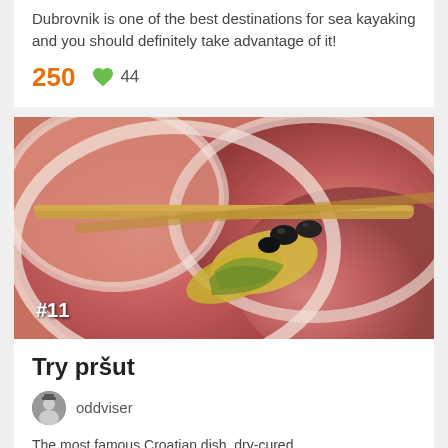Dubrovnik is one of the best destinations for sea kayaking and you should definitely take advantage of it!
250  ♥ 44
[Figure (photo): Close-up photo of thinly sliced prosciutto (pršut) arranged with black olives, melon slices, and breadsticks. A '#11' badge is overlaid in the bottom-left corner.]
Try pršut
oddviser
The most famous Croatian dish, dry-cured